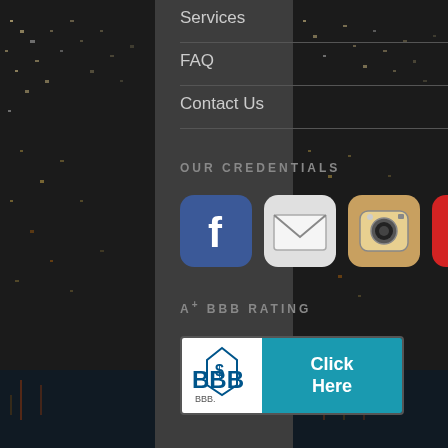Services
FAQ
Contact Us
OUR CREDENTIALS
[Figure (logo): Social media icons: Facebook, Mail, Instagram, Yelp]
A+ BBB RATING
[Figure (logo): BBB A+ rating badge with Click Here button in teal]